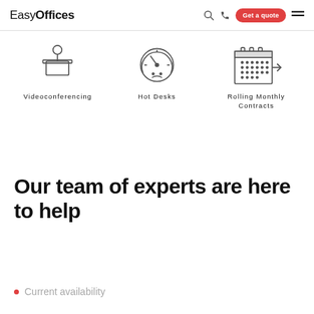EasyOffices | Get a quote
[Figure (illustration): Icon of a person at a reception desk for Videoconferencing]
Videoconferencing
[Figure (illustration): Icon of a speedometer gauge for Hot Desks]
Hot Desks
[Figure (illustration): Icon of a calendar with arrow for Rolling Monthly Contracts]
Rolling Monthly Contracts
Our team of experts are here to help
Current availability